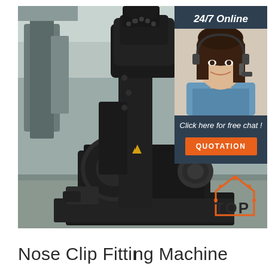[Figure (photo): Industrial nose clip fitting machine — a large black heavy-duty press machine photographed inside a factory/warehouse setting with other industrial equipment visible in the background. An overlay in the top-right corner shows a customer service agent (woman with headset) with '24/7 Online' text and a 'QUOTATION' button. A 'TOP' brand logo appears at the bottom right of the composite image.]
Nose Clip Fitting Machine